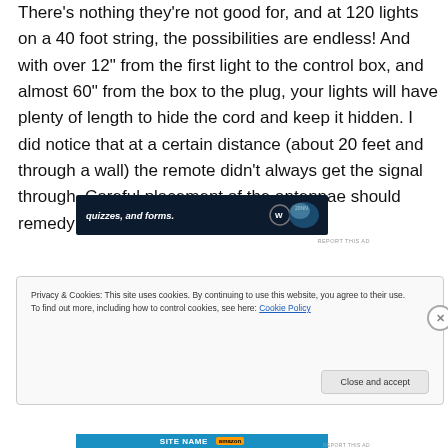There's nothing they're not good for, and at 120 lights on a 40 foot string, the possibilities are endless! And with over 12" from the first light to the control box, and almost 60" from the box to the plug, your lights will have plenty of length to hide the cord and keep it hidden. I did notice that at a certain distance (about 20 feet and through a wall) the remote didn't always get the signal through. Careful placement of the antennae should remedy that, however.
[Figure (screenshot): Dark navy advertisement banner with italic text 'quizzes, and forms.' and WordPress logo with a glowing blue circular graphic on the right, with 'REPORT THIS AD' text below]
Privacy & Cookies: This site uses cookies. By continuing to use this website, you agree to their use.
To find out more, including how to control cookies, see here: Cookie Policy
Close and accept